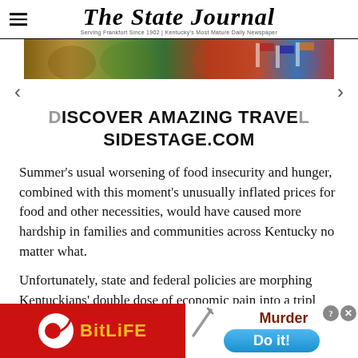The State Journal — Serving Frankfort Since 1902 | Kentucky's Most Mature Daily Newspaper
[Figure (photo): Colorful travel advertisement banner image with autumn trees and scenic imagery]
[Figure (infographic): Advertisement: DISCOVER AMAZING TRAVEL SIDESTAGE.COM]
Summer's usual worsening of food insecurity and hunger, combined with this moment's unusually inflated prices for food and other necessities, would have caused more hardship in families and communities across Kentucky no matter what.
Unfortunately, state and federal policies are morphing Kentuckians' double dose of economic pain into a triple
[Figure (screenshot): BitLife mobile game advertisement at bottom: BitLife logo on red background on left; Murder Do it! game ad on right with blue button]